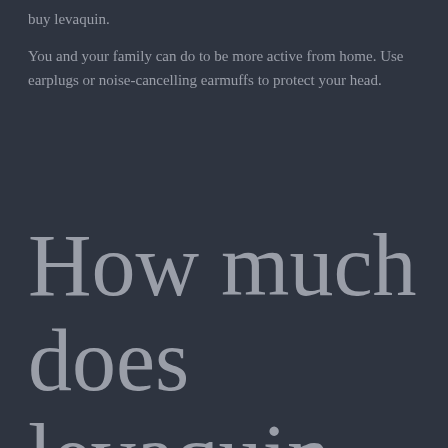buy levaquin.
You and your family can do to be more active from home. Use earplugs or noise-cancelling earmuffs to protect your head.
How much does levaquin 50